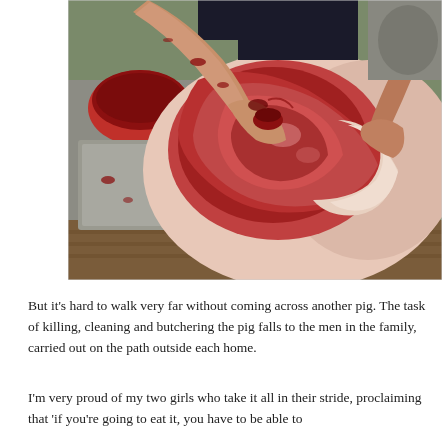[Figure (photo): A photograph showing hands butchering a pig carcass outdoors. The pig's body cavity is open revealing raw red meat and tissue. There is a red basin in the background and wooden surfaces. The person's arms are bloodied from the work.]
But it's hard to walk very far without coming across another pig. The task of killing, cleaning and butchering the pig falls to the men in the family, carried out on the path outside each home.
I'm very proud of my two girls who take it all in their stride, proclaiming that 'if you're going to eat it, you have to be able to ...